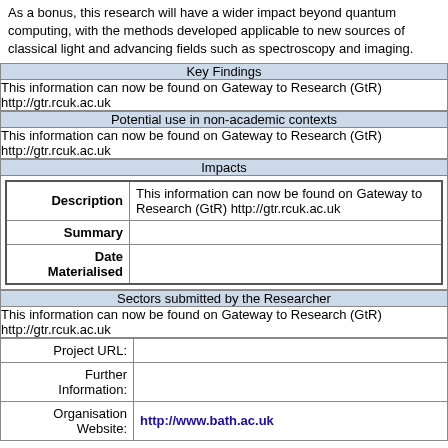As a bonus, this research will have a wider impact beyond quantum computing, with the methods developed applicable to new sources of classical light and advancing fields such as spectroscopy and imaging.
| Key Findings |
| --- |
| This information can now be found on Gateway to Research (GtR) http://gtr.rcuk.ac.uk |
| Potential use in non-academic contexts |
| --- |
| This information can now be found on Gateway to Research (GtR) http://gtr.rcuk.ac.uk |
| Impacts |
| --- |
| Description | This information can now be found on Gateway to Research (GtR) http://gtr.rcuk.ac.uk |
| Summary |  |
| Date Materialised |  |
| Sectors submitted by the Researcher |
| --- |
| This information can now be found on Gateway to Research (GtR) http://gtr.rcuk.ac.uk |
| Project URL: | Further Information: | Organisation Website: |
| --- | --- | --- |
|  |  |
|  |  |
|  | http://www.bath.ac.uk |